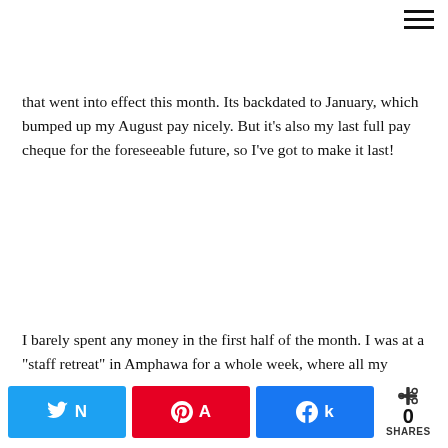☰ (hamburger menu icon)
that went into effect this month. Its backdated to January, which bumped up my August pay nicely. But it's also my last full pay cheque for the foreseeable future, so I've got to make it last!
I barely spent any money in the first half of the month. I was at a "staff retreat" in Amphawa for a whole week, where all my expenses were covered by my organisation. But I had a bunch of things to buy for our upcoming travels, including a good pair of trainers (in anticipation of 20,000-step days), and toiletries. A whole lot of other money went towards expensive sushi, pizza, delicious vegetarian/vegan food, massages, and skincare.
[Figure (photo): A dark photo strip showing what appears to be an interior scene with wooden furniture, partially cut off at the bottom of the page.]